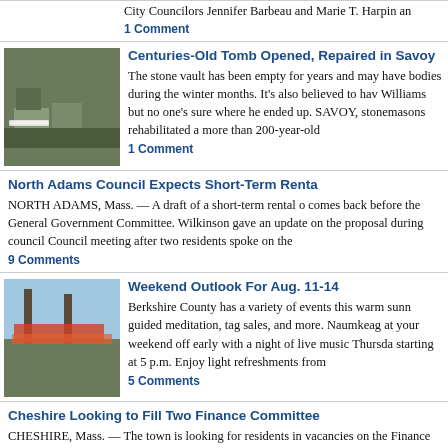City Councilors Jennifer Barbeau and Marie T. Harpin and
1 Comment
Centuries-Old Tomb Opened, Repaired in Savoy
The stone vault has been empty for years and may have bodies during the winter months. It's also believed to have Williams but no one's sure where he ended up.  SAVOY, stonemasons rehabilitated a more than 200-year-old
1 Comment
North Adams Council Expects Short-Term Rental
NORTH ADAMS, Mass. — A draft of a short-term rental o comes back before the General Government Committee. Wilkinson gave an update on the proposal during council Council meeting after two residents spoke on the
9 Comments
Weekend Outlook For Aug. 11-14
Berkshire County has a variety of events this warm sunn guided meditation, tag sales, and more.    Naumkeag at your weekend off early with a night of live music Thursda starting at 5 p.m.  Enjoy light refreshments from
5 Comments
Cheshire Looking to Fill Two Finance Committee
CHESHIRE, Mass. — The town is looking for residents in vacancies on the Finance Committee.  The town's moder members to the Finance Committee. Francesconi said no in filling the positions.  There had already
0 Comments
North Adams Council OKs Easements for Bray